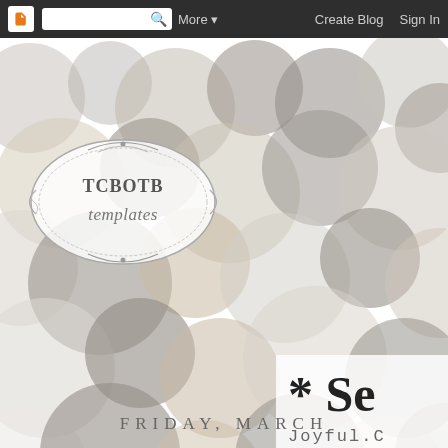Blogger navigation bar with search box, More, Create Blog, Sign In
[Figure (illustration): Decorative bubble/bokeh pattern background with overlapping circles in grey, tan/beige, and white tones filling the page header area]
[Figure (logo): TCBOTB templates logo in ornate decorative frame with scroll flourishes]
* Se
Joyful.C
FRIDAY, MARCH